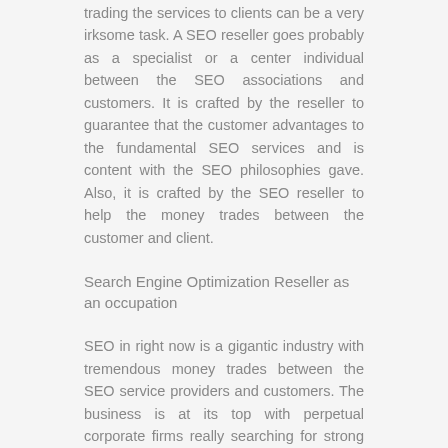trading the services to clients can be a very irksome task. A SEO reseller goes probably as a specialist or a center individual between the SEO associations and customers. It is crafted by the reseller to guarantee that the customer advantages to the fundamental SEO services and is content with the SEO philosophies gave. Also, it is crafted by the SEO reseller to help the money trades between the customer and client.
Search Engine Optimization Reseller as an occupation
SEO in right now is a gigantic industry with tremendous money trades between the SEO service providers and customers. The business is at its top with perpetual corporate firms really searching for strong guaranteed and productive seo reseller company to propel their online undertakings. Consequently, when you are serious about the SEO business, you can make a tremendous compensation by trading the SEO services given by another association. Seo reseller trading takes after an additional compensation, particularly for people working in a comparative industry or in the web region.